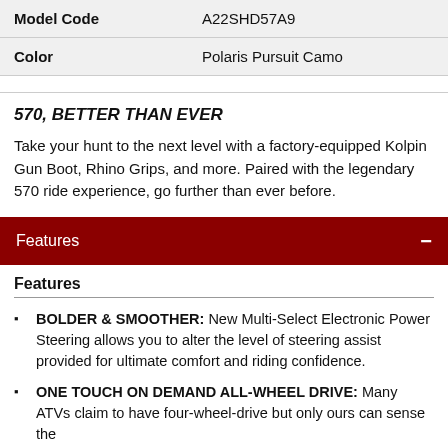|  |  |
| --- | --- |
| Model Code | A22SHD57A9 |
| Color | Polaris Pursuit Camo |
570, BETTER THAN EVER
Take your hunt to the next level with a factory-equipped Kolpin Gun Boot, Rhino Grips, and more. Paired with the legendary 570 ride experience, go further than ever before.
Features
Features
BOLDER & SMOOTHER: New Multi-Select Electronic Power Steering allows you to alter the level of steering assist provided for ultimate comfort and riding confidence.
ONE TOUCH ON DEMAND ALL-WHEEL DRIVE: Many ATVs claim to have four-wheel-drive but only ours can sense the